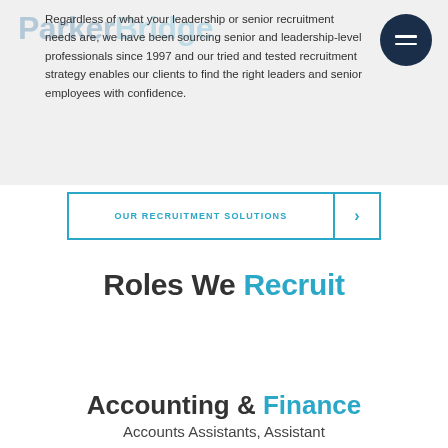[Figure (logo): ParkerBridge logo watermark in light blue/teal, overlaid on gray background section]
Regardless of what your leadership or senior recruitment needs are, we have been sourcing senior and leadership-level professionals since 1997 and our tried and tested recruitment strategy enables our clients to find the right leaders and senior employees with confidence.
OUR RECRUITMENT SOLUTIONS >
Roles We Recruit
Accounting & Finance
Accounts Assistants, Assistant